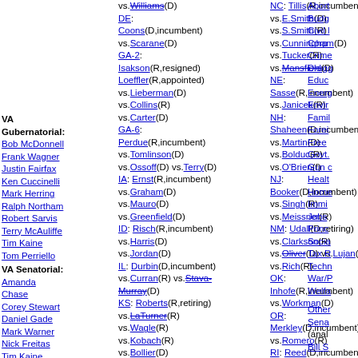VA Gubernatorial: Bob McDonnell, Frank Wagner, Justin Fairfax, Ken Cuccinelli, Mark Herring, Ralph Northam, Robert Sarvis, Terry McAuliffe, Tim Kaine, Tom Perriello
VA Senatorial: Amanda Chase, Corey Stewart, Daniel Gade, Mark Warner, Nick Freitas, Tim Kaine
VA politicians, VA Archives
vs.Williams(D), DE: Coons(D,incumbent) vs.Scarane(D), GA-2: Isakson(R,resigned) Loeffler(R,appointed) vs.Lieberman(D) vs.Collins(R) vs.Carter(D), GA-6: Perdue(R,incumbent) vs.Tomlinson(D) vs.Ossoff(D) vs.Terry(D), IA: Ernst(R,incumbent) vs.Graham(D) vs.Mauro(D) vs.Greenfield(D), ID: Risch(R,incumbent) vs.Harris(D) vs.Jordan(D), IL: Durbin(D,incumbent) vs.Curran(R) vs.Stava-Murray(D), KS: Roberts(R,retiring) vs.LaTurner(R) vs.Wagle(R) vs.Kobach(R) vs.Bollier(D) vs.Lindstrom(R)
NC: Tillis(R,incumbent) vs.E.Smith(D) vs.S.Smith(R) vs.Cunningham(D) vs.Tucker(R) vs.Mansfield(D), NE: Sasse(R,incumbent) vs.Janicek(R), NH: Shaheen(D,incumbent) vs.Martin(D) vs.Bolduc(R) vs.O'Brien(f), NJ: Booker(D,incumbent) vs.Singh(R) vs.Meissner(R), NM: Udall(D,retiring) vs.Clarkson(R) vs.Oliver(D) vs.Lujan(D) vs.Rich(R), OK: Inhofe(R,incumbent) vs.Workman(D), OR: Merkley(D,incumbent) vs.Romero(R), RI: Reed(D,incumbent) vs.Waters(R)
Abort, Budg, Civil l, Corp, Crime, Drugg, Educ, Energ, Envir, Famil, Forei, Free, Govt., Gun c, Healt, Home, Immi, Jobs, Princ, Socia, Tax R, Techn, War/P, Welfa, Other, Sena, (anal, Bill S